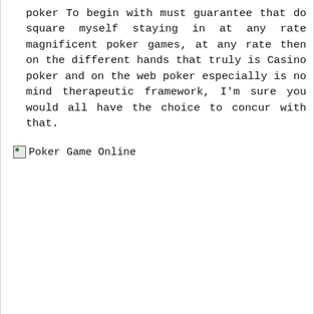poker To begin with must guarantee that do square myself staying in at any rate magnificent poker games, at any rate then on the different hands that truly is Casino poker and on the web poker especially is no mind therapeutic framework, I'm sure you would all have the choice to concur with that.
[Figure (other): Broken image placeholder with alt text 'Poker Game Online']